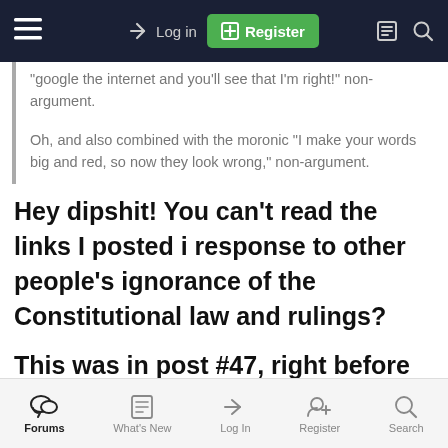Log in  Register
"google the internet and you'll see that I'm right!" non-argument.

Oh, and also combined with the moronic "I make your words big and red, so now they look wrong," non-argument.
Hey dipshit! You can't read the links I posted i response to other people's ignorance of the Constitutional law and rulings?
This was in post #47, right before you clutched up and got your panties in a knot!
Forums  What's New  Log In  Register  Search